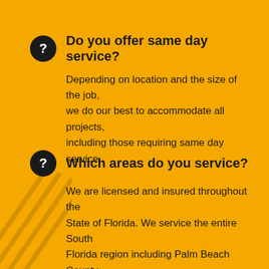Do you offer same day service?
Depending on location and the size of the job, we do our best to accommodate all projects, including those requiring same day service.
Which areas do you service?
We are licensed and insured throughout the State of Florida. We service the entire South Florida region including Palm Beach County, Broward County, and Miami-Dade County.